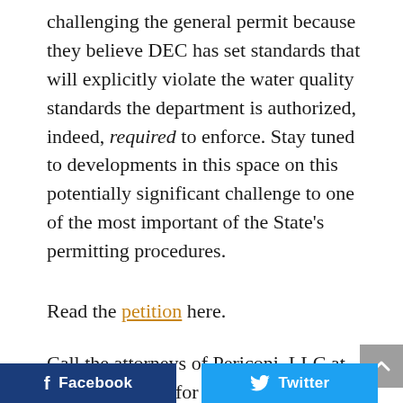challenging the general permit because they believe DEC has set standards that will explicitly violate the water quality standards the department is authorized, indeed, required to enforce. Stay tuned to developments in this space on this potentially significant challenge to one of the most important of the State's permitting procedures.
Read the petition here.
Call the attorneys of Periconi, LLC at (212) 213-5500 for legal advice if you operate a facility that produces industrial wastewater to ensure you are in compliance with the law.